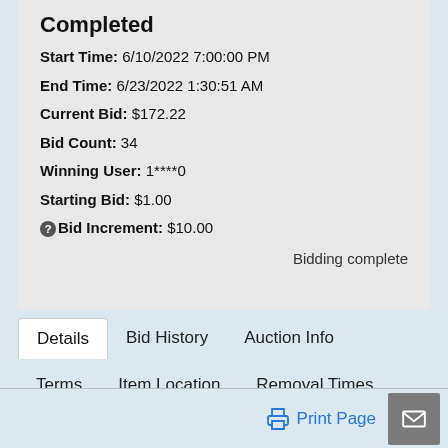Completed
Start Time: 6/10/2022 7:00:00 PM
End Time: 6/23/2022 1:30:51 AM
Current Bid: $172.22
Bid Count: 34
Winning User: 1****0
Starting Bid: $1.00
Bid Increment: $10.00
Bidding complete
Details
Bid History
Auction Info
Terms
Item Location
Removal Times
Print Page